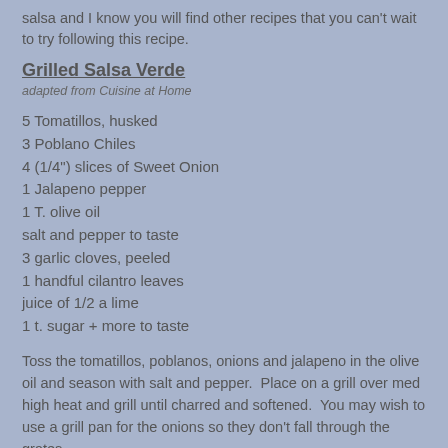salsa and I know you will find other recipes that you can't wait to try following this recipe.
Grilled Salsa Verde
adapted from Cuisine at Home
5 Tomatillos, husked
3 Poblano Chiles
4 (1/4") slices of Sweet Onion
1 Jalapeno pepper
1 T. olive oil
salt and pepper to taste
3 garlic cloves, peeled
1 handful cilantro leaves
juice of 1/2 a lime
1 t. sugar + more to taste
Toss the tomatillos, poblanos, onions and jalapeno in the olive oil and season with salt and pepper.  Place on a grill over med high heat and grill until charred and softened.  You may wish to use a grill pan for the onions so they don't fall through the grates.